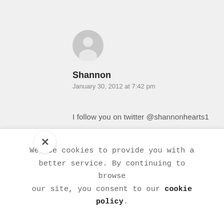[Figure (illustration): Gray circular avatar/user icon placeholder]
Shannon
January 30, 2012 at 7:42 pm
I follow you on twitter @shannonhearts1
shannonweel (at) gmail (dot) com
↳ Reply
We use cookies to provide you with a better service. By continuing to browse our site, you consent to our cookie policy.